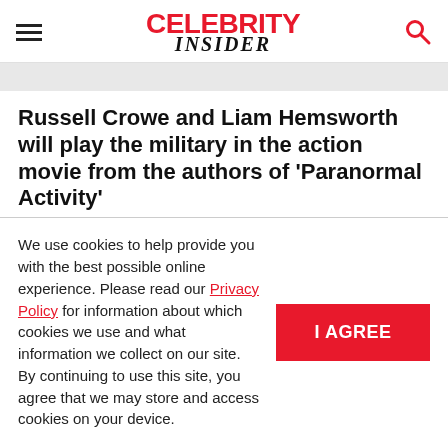Celebrity Insider
Russell Crowe and Liam Hemsworth will play the military in the action movie from the authors of 'Paranormal Activity'
POSTED ON MAY 5, 2022 6:02 AM
We use cookies to help provide you with the best possible online experience. Please read our Privacy Policy for information about which cookies we use and what information we collect on our site. By continuing to use this site, you agree that we may store and access cookies on your device.